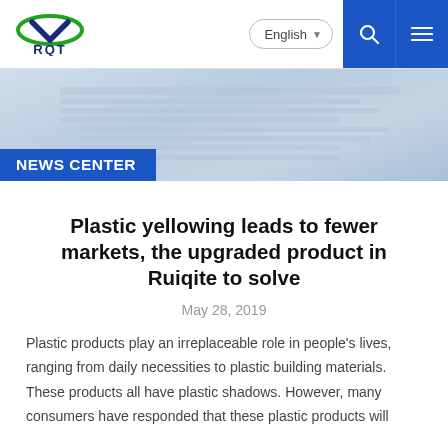[Figure (logo): RQT company logo with green oval and dark blue V-shape mark above RQT text]
English ▼ 🔍 ≡
[Figure (photo): Close-up photo of stacked newspapers with blue tint overlay]
NEWS CENTER
Plastic yellowing leads to fewer markets, the upgraded product in Ruiqite to solve
May 28, 2019
Plastic products play an irreplaceable role in people's lives, ranging from daily necessities to plastic building materials. These products all have plastic shadows. However, many consumers have responded that these plastic products will